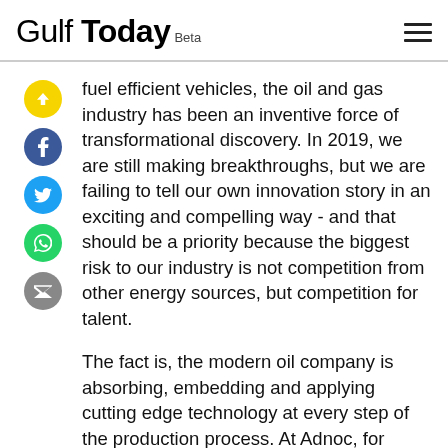Gulf Today Beta
fuel efficient vehicles, the oil and gas industry has been an inventive force of transformational discovery. In 2019, we are still making breakthroughs, but we are failing to tell our own innovation story in an exciting and compelling way - and that should be a priority because the biggest risk to our industry is not competition from other energy sources, but competition for talent.
The fact is, the modern oil company is absorbing, embedding and applying cutting edge technology at every step of the production process. At Adnoc, for example, we fully embrace technology from oil platforms to trading platforms. We are selling not the end of